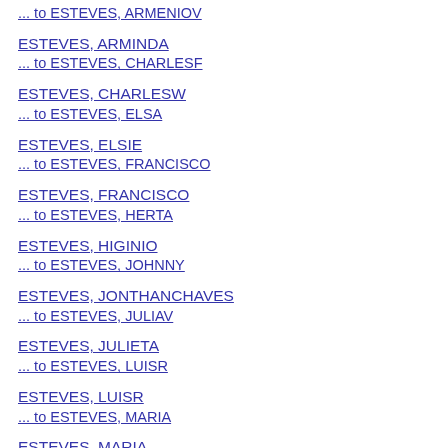... to ESTEVES, ARMENIOV
ESTEVES, ARMINDA
... to ESTEVES, CHARLESF
ESTEVES, CHARLESW
... to ESTEVES, ELSA
ESTEVES, ELSIE
... to ESTEVES, FRANCISCO
ESTEVES, FRANCISCO
... to ESTEVES, HERTA
ESTEVES, HIGINIO
... to ESTEVES, JOHNNY
ESTEVES, JONTHANCHAVES
... to ESTEVES, JULIAV
ESTEVES, JULIETA
... to ESTEVES, LUISR
ESTEVES, LUISR
... to ESTEVES, MARIA
ESTEVES, MARIA